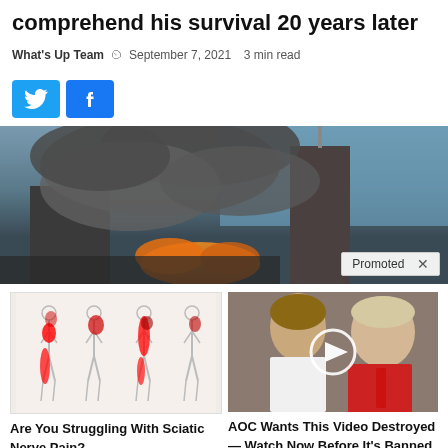comprehend his survival 20 years later
What's Up Team  September 7, 2021  3 min read
[Figure (other): Twitter and Facebook share buttons]
[Figure (photo): Photo of smoke and fire rising from a building, with a 'Promoted X' badge in the bottom right]
[Figure (photo): Medical illustration of sciatic nerve pain showing figures with highlighted pain areas]
Are You Struggling With Sciatic Nerve Pain?
1,092
[Figure (photo): Photo of two people with a video play button overlay]
AOC Wants This Video Destroyed — Watch Now Before It's Banned
618,193